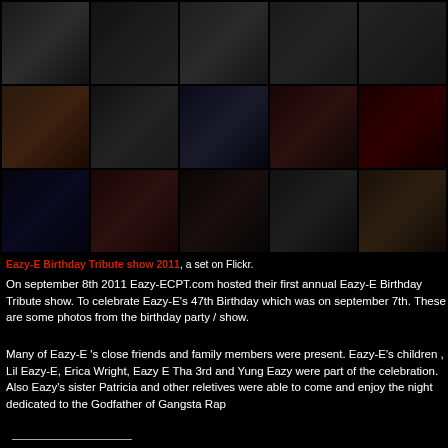[Figure (photo): Grid of 15 photos from Eazy-E Birthday Tribute show 2011, arranged in 3 rows of 5 columns showing people at a party/show event]
Eazy-E Birthday Tribute show 2011, a set on Flickr.
On september 8th 2011 Eazy-ECPT.com hosted their first annual Eazy-E Birthday Tribute show. To celebrate Eazy-E's 47th Birthday which was on september 7th. These are some photos from the birthday party / show.
Many of Eazy-E 's close friends and family members were present. Eazy-E's children , Lil Eazy-E, Erica Wright, Eazy E Tha 3rd and Yung Eazy were part of the celebration. Also Eazy's sister Patricia and other reletives were able to come and enjoy the night dedicated to the Godfather of Gangsta Rap